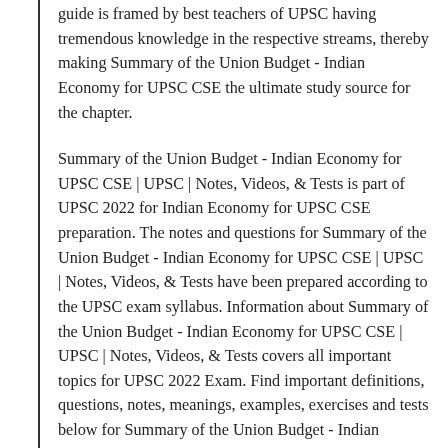guide is framed by best teachers of UPSC having tremendous knowledge in the respective streams, thereby making Summary of the Union Budget - Indian Economy for UPSC CSE the ultimate study source for the chapter.
Summary of the Union Budget - Indian Economy for UPSC CSE | UPSC | Notes, Videos, & Tests is part of UPSC 2022 for Indian Economy for UPSC CSE preparation. The notes and questions for Summary of the Union Budget - Indian Economy for UPSC CSE | UPSC | Notes, Videos, & Tests have been prepared according to the UPSC exam syllabus. Information about Summary of the Union Budget - Indian Economy for UPSC CSE | UPSC | Notes, Videos, & Tests covers all important topics for UPSC 2022 Exam. Find important definitions, questions, notes, meanings, examples, exercises and tests below for Summary of the Union Budget - Indian Economy for UPSC CSE | UPSC | Notes